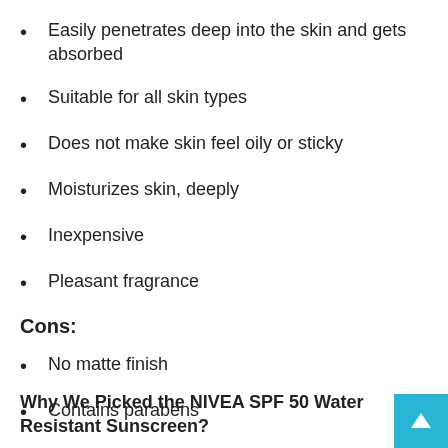Easily penetrates deep into the skin and gets absorbed
Suitable for all skin types
Does not make skin feel oily or sticky
Moisturizes skin, deeply
Inexpensive
Pleasant fragrance
Cons:
No matte finish
Contains parabens
Why We Picked the NIVEA SPF 50 Water Resistant Sunscreen?